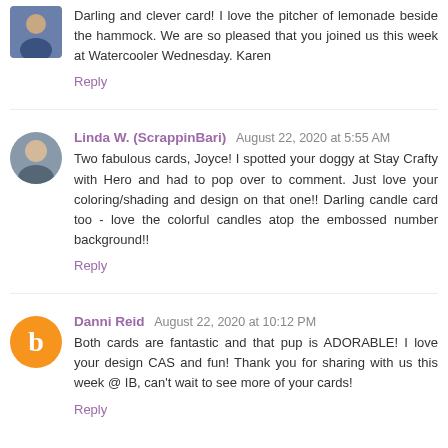Darling and clever card! I love the pitcher of lemonade beside the hammock. We are so pleased that you joined us this week at Watercooler Wednesday. Karen
Reply
Linda W. (ScrappinBari) August 22, 2020 at 5:55 AM
Two fabulous cards, Joyce! I spotted your doggy at Stay Crafty with Hero and had to pop over to comment. Just love your coloring/shading and design on that one!! Darling candle card too - love the colorful candles atop the embossed number background!!
Reply
Danni Reid August 22, 2020 at 10:12 PM
Both cards are fantastic and that pup is ADORABLE! I love your design CAS and fun! Thank you for sharing with us this week @ IB, can't wait to see more of your cards!
Reply